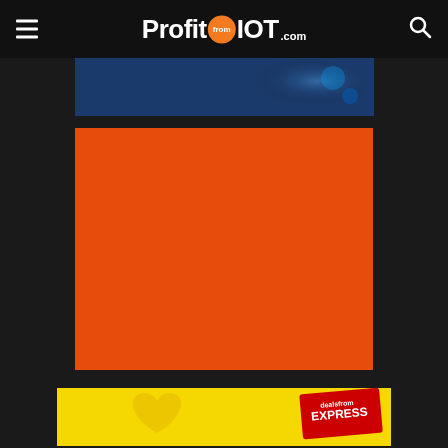ProfitfromIOT.com
[Figure (photo): Blue-toned banner image strip at top of content area]
[Figure (photo): Large solid orange-red rectangle block]
[Figure (photo): Yellow banner with heart icon and Express magazine badge at bottom]